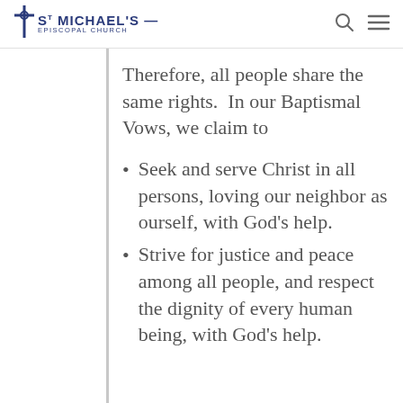St Michael's Episcopal Church
Therefore, all people share the same rights.  In our Baptismal Vows, we claim to
Seek and serve Christ in all persons, loving our neighbor as ourself, with God’s help.
Strive for justice and peace among all people, and respect the dignity of every human being, with God’s help.